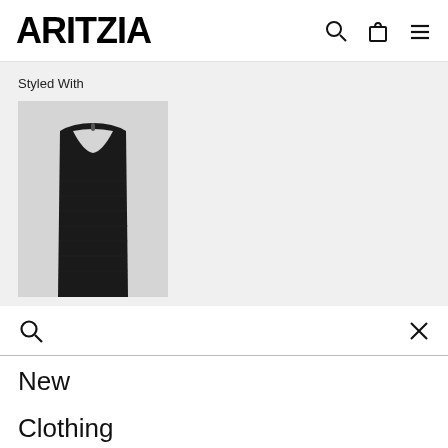ARITZIA
Styled With
[Figure (photo): Black ribbed sleeveless tank top on a light gray background, product photo]
Search bar with search icon and close (X) button
New
Clothing
Back In